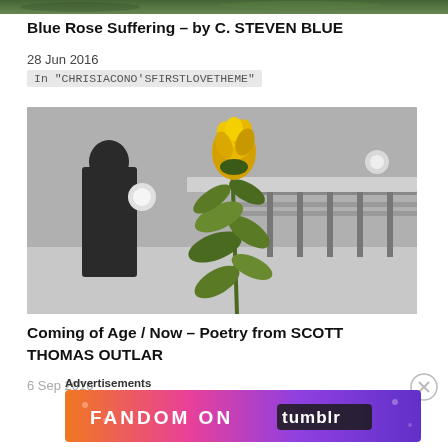[Figure (photo): Top strip of a dark green/foliage photo, partially cropped at top of page]
Blue Rose Suffering – by C. STEVEN BLUE
28 Jun 2016
In "CHRISIACONO'SFIRSTLOVETHEME"
[Figure (photo): Black and white photo of a blurred indoor scene (person walking in background, railings) with a vivid yellow rose in selective color in the foreground]
Coming of Age / Now – Poetry from SCOTT THOMAS OUTLAR
6 Sep 2016
Advertisements
[Figure (photo): Fandom on Tumblr advertisement banner with colorful gradient background (orange, pink, purple) and bold text reading FANDOM ON tumblr]